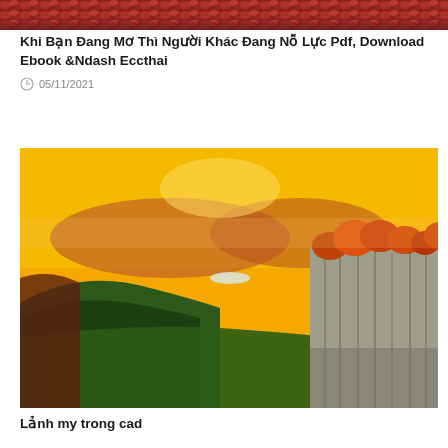[Figure (photo): Partial view of red/autumn foliage landscape, cropped at top of page]
Khi Bạn Đang Mơ Thì Người Khác Đang Nỗ Lực Pdf, Download Ebook &Ndash Eccthai
05/11/2021
[Figure (photo): Scenic landscape photo showing tall basalt rock columns on the right with autumn orange trees on top, green forested valley below, and golden yellow sky with mountains in the background]
Lảnh my trong cad